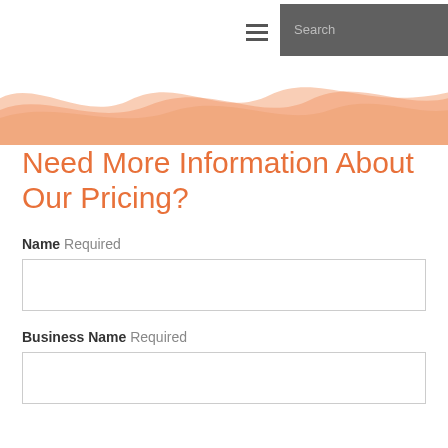Search
[Figure (illustration): Decorative orange/salmon wave banner graphic across the top of the content area]
Need More Information About Our Pricing?
Name Required
Business Name Required